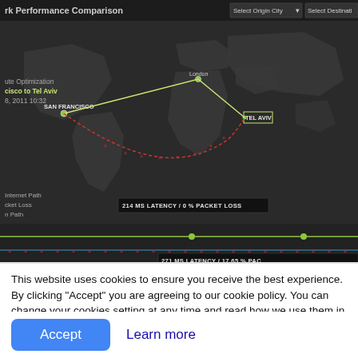[Figure (screenshot): Dark-themed network route optimization map showing path from San Francisco to Tel Aviv via London. Green line (optimized path) goes through London. Red dashed line (Internet path) curves south. Timeline at bottom shows latency comparison: 214 MS LATENCY / 0 % PACKET LOSS (green path) and 271 MS LATENCY / 17.65 % PACKET LOSS (red path). Top bar has title 'rk Performance Comparison' and dropdowns for Select Origin City and Select Destination. Left overlay shows info: Route Optimization, Francisco to Tel Aviv, 8, 2011 10:32. Legend shows Internet Path, Packet Loss, n Path.]
This website uses cookies to ensure you receive the best experience. By clicking "Accept" you are agreeing to our cookie policy. You can change your cookies setting at any time and read how we use them in our  Privacy &  Cookies Policy.